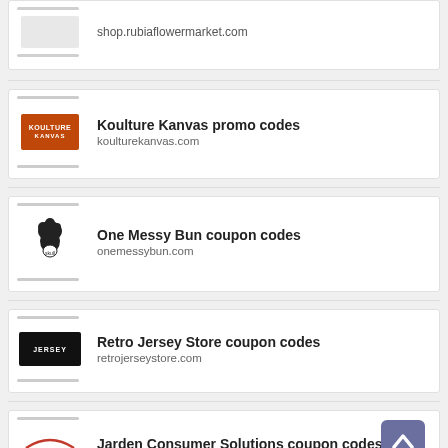shop.rubiaflowermarket.com
Koulture Kanvas promo codes
koulturekanvas.com
One Messy Bun coupon codes
onemessybun.com
Retro Jersey Store coupon codes
retrojerseystore.com
Jarden Consumer Solutions coupon codes
jardencs.com